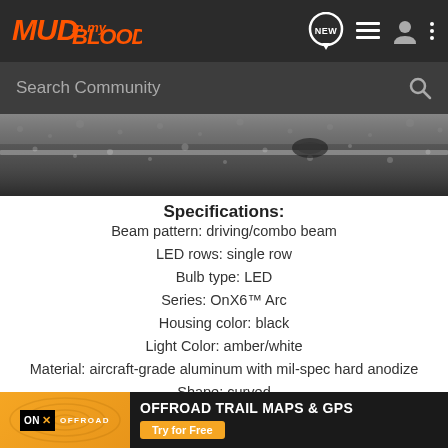MUD in my BLOOD — Search Community
[Figure (photo): Close-up photo of gravel/dirt ground surface, dark and grainy with white streak]
Specifications:
Beam pattern: driving/combo beam
LED rows: single row
Bulb type: LED
Series: OnX6™ Arc
Housing color: black
Light Color: amber/white
Material: aircraft-grade aluminum with mil-spec hard anodize
Shape: curved
[Figure (advertisement): ON X OFFROAD — OFFROAD TRAIL MAPS & GPS — Try for Free ad banner]